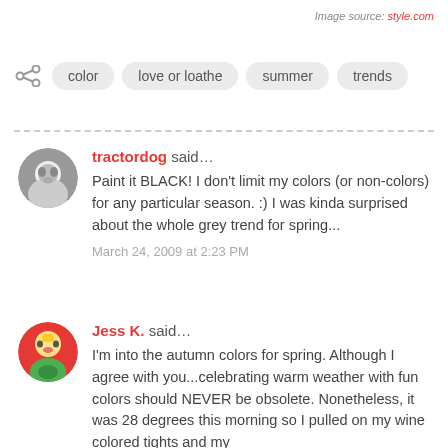Image source: style.com
color   love or loathe   summer   trends
tractordog said... Paint it BLACK! I don't limit my colors (or non-colors) for any particular season. :) I was kinda surprised about the whole grey trend for spring... March 24, 2009 at 2:23 PM
Jess K. said... I'm into the autumn colors for spring. Although I agree with you...celebrating warm weather with fun colors should NEVER be obsolete. Nonetheless, it was 28 degrees this morning so I pulled on my wine colored tights and my